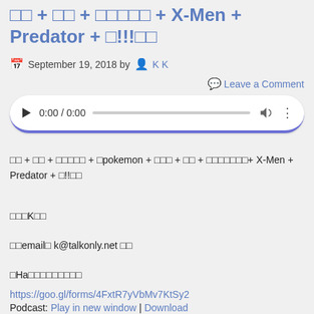□□ + □□ + □□□□□ + X-Men + Predator + □!!!□□
📅 September 19, 2018 by 👤 K K
💬 Leave a Comment
[Figure (other): Audio player widget showing 0:00 / 0:00 with play button, progress bar, volume icon, and more options icon. Purple accent border at bottom.]
□□ + □□ + □□□□□ + □pokemon + □□□ + □□ + □□□□□□□+ X-Men + Predator + □!!□□
□□□K□□
□□email□ k@talkonly.net □□
□Ha□□□□□□□□□
https://goo.gl/forms/4FxtR7yVbMv7KtSy2
Podcast: Play in new window | Download